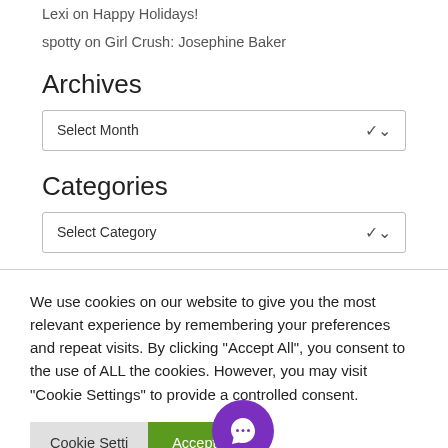Lexi on Happy Holidays!
spotty on Girl Crush: Josephine Baker
Archives
Select Month
Categories
Select Category
We use cookies on our website to give you the most relevant experience by remembering your preferences and repeat visits. By clicking “Accept All”, you consent to the use of ALL the cookies. However, you may visit "Cookie Settings" to provide a controlled consent.
Cookie Settings | Accept All